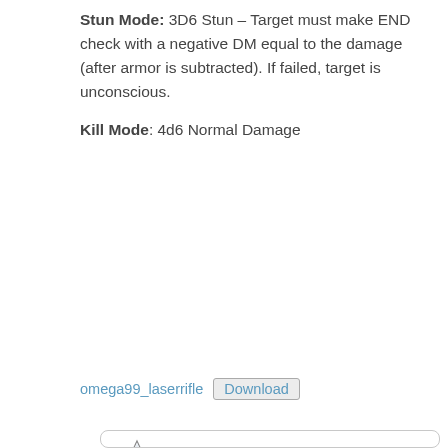Stun Mode: 3D6 Stun – Target must make END check with a negative DM equal to the damage (after armor is subtracted). If failed, target is unconscious.
Kill Mode: 4d6 Normal Damage
omega99_laserrifle  Download
[Figure (illustration): Laser Rifle product card with Omega Moonbase logo, title LASER RIFLE HEAVY WEAPON, descriptive text about the weapon, and a line-art technical drawing of the laser rifle.]